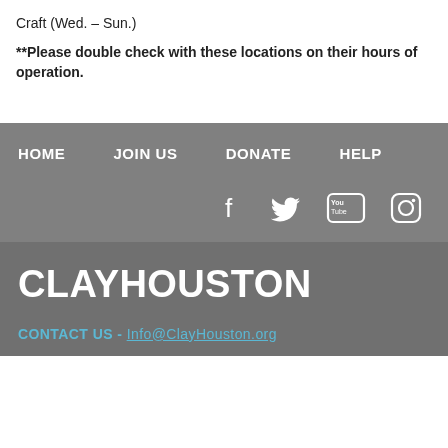Craft (Wed. – Sun.)
**Please double check with these locations on their hours of operation.
HOME   JOIN US   DONATE   HELP
[Figure (other): Social media icons: Facebook, Twitter, YouTube, Instagram]
CLAYHOUSTON
CONTACT US - Info@ClayHouston.org